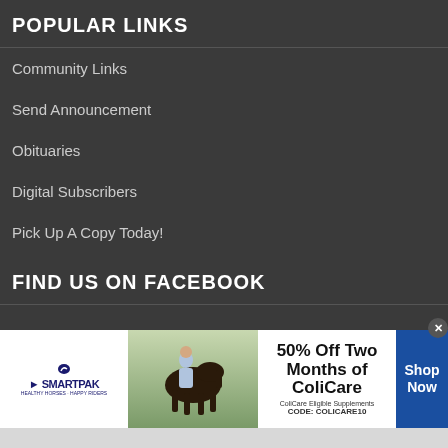POPULAR LINKS
Community Links
Send Announcement
Obituaries
Digital Subscribers
Pick Up A Copy Today!
FIND US ON FACEBOOK
[Figure (infographic): SmartPak advertisement banner: SmartPak logo on left, horse and person image in center-left, text '50% Off Two Months of ColiCare, ColiCare Eligible Supplements, CODE: COLICARE10' in center, blue 'Shop Now' button on right, with close X button.]